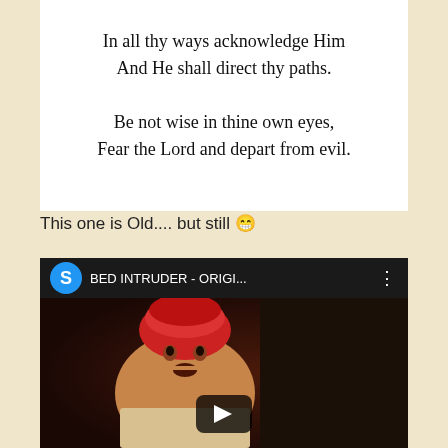In all thy ways acknowledge Him
And He shall direct thy paths.

Be not wise in thine own eyes,
Fear the Lord and depart from evil.
This one is Old.... but still 😄
[Figure (screenshot): YouTube video thumbnail showing 'BED INTRUDER - ORIGI...' with a man wearing a red headwrap, play button overlay, and a blue 'S' avatar icon in the header]